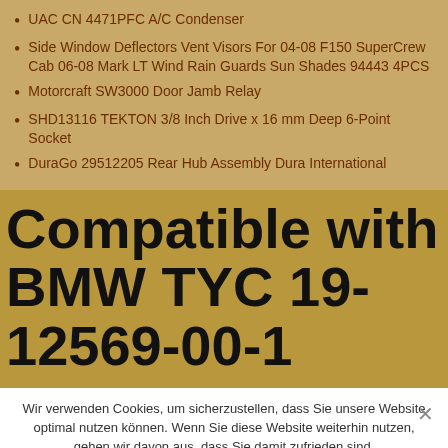UAC CN 4471PFC A/C Condenser
Side Window Deflectors Vent Visors For 04-08 F150 SuperCrew Cab 06-08 Mark LT Wind Rain Guards Sun Shades 94443 4PCS
Motorcraft SW3000 Door Jamb Relay
SHD13116 TEKTON 3/8 Inch Drive x 16 mm Deep 6-Point Socket
DuraGo 29512205 Rear Hub Assembly Dura International
Compatible with BMW TYC 19-12569-00-1
Wir verwenden Cookies, um sicherzustellen, dass Sie unsere Website optimal nutzen können. Wenn Sie diese Website weiterhin nutzen, gehen wir davon aus, dass Sie damit zufrieden sind.
Annehmen  Nein  Datenschutz